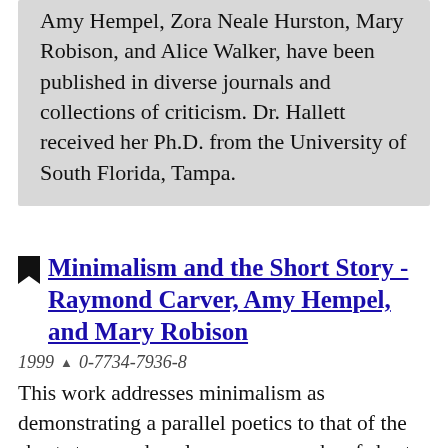Amy Hempel, Zora Neale Hurston, Mary Robison, and Alice Walker, have been published in diverse journals and collections of criticism. Dr. Hallett received her Ph.D. from the University of South Florida, Tampa.
Minimalism and the Short Story - Raymond Carver, Amy Hempel, and Mary Robison
1999 0-7734-7936-8
This work addresses minimalism as demonstrating a parallel poetics to that of the short story, and analyses many works of short fiction by Raymond Carver, Amy Hempel, and Mary Robison that reflect this relationship. Very little academic scholarship addresses Literary Minimalism in positive terms. This work traces the